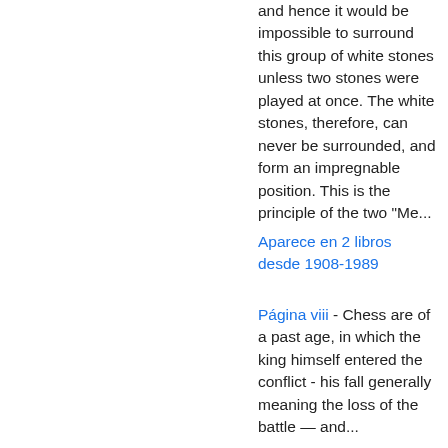and hence it would be impossible to surround this group of white stones unless two stones were played at once. The white stones, therefore, can never be surrounded, and form an impregnable position. This is the principle of the two "Me...
Aparece en 2 libros desde 1908-1989
Página viii - Chess are of a past age, in which the king himself entered the conflict - his fall generally meaning the loss of the battle — and...
Aparece en 2 libros desde 1908-1971